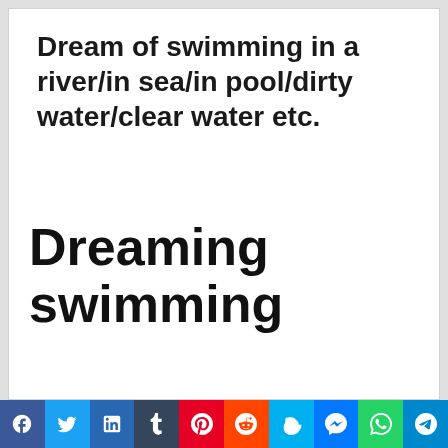Dream of swimming in a river/in sea/in pool/dirty water/clear water etc.
Dreaming swimming
[Figure (infographic): Social media sharing buttons bar at the bottom: Facebook, Twitter, LinkedIn, Tumblr, Pinterest, Reddit, Skype, Messenger, WhatsApp, Telegram]